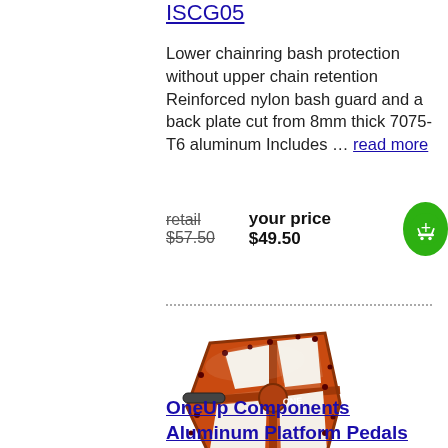ISCG05
Lower chainring bash protection without upper chain retention Reinforced nylon bash guard and a back plate cut from 8mm thick 7075-T6 aluminum Includes … read more
retail $57.50 your price $49.50
[Figure (photo): Red OneUp Components aluminum platform bicycle pedal with black pins and silver axle stub, viewed at an angle.]
OneUp Components Aluminum Platform Pedals Red